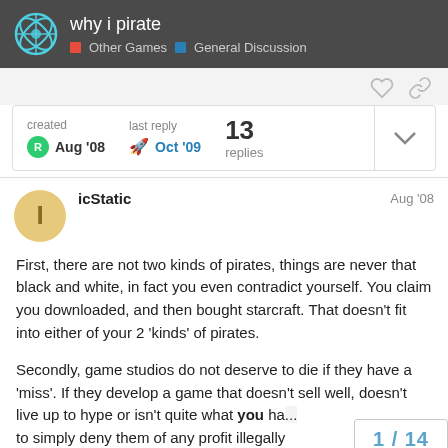why i pirate | Other Games | General Discussion
created Aug '08 | last reply Oct '09 | 13 replies
icStatic Aug '08
First, there are not two kinds of pirates, things are never that black and white, in fact you even contradict yourself. You claim you downloaded, and then bought starcraft. That doesn't fit into either of your 2 'kinds' of pirates.
Secondly, game studios do not deserve to die if they have a 'miss'. If they develop a game that doesn't sell well, doesn't live up to hype or isn't quite what you ha... to simply deny them of any profit illegally...
1 / 14